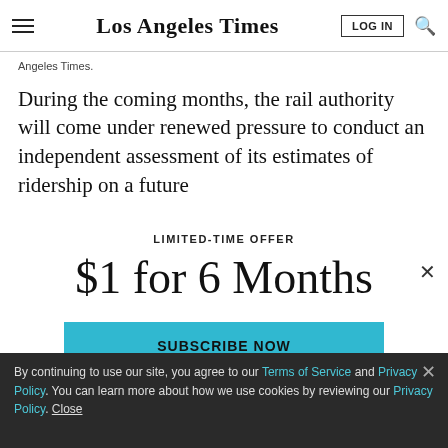Los Angeles Times
Angeles Times.
During the coming months, the rail authority will come under renewed pressure to conduct an independent assessment of its estimates of ridership on a future
LIMITED-TIME OFFER
$1 for 6 Months
SUBSCRIBE NOW
By continuing to use our site, you agree to our Terms of Service and Privacy Policy. You can learn more about how we use cookies by reviewing our Privacy Policy. Close